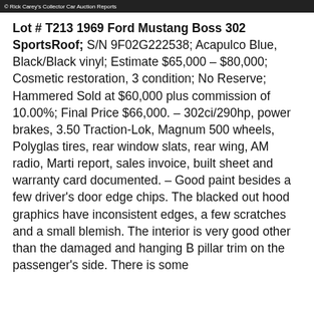© Rick Carey's Collector Car Auction Reports
Lot # T213 1969 Ford Mustang Boss 302 SportsRoof; S/N 9F02G222538; Acapulco Blue, Black/Black vinyl; Estimate $65,000 – $80,000; Cosmetic restoration, 3 condition; No Reserve; Hammered Sold at $60,000 plus commission of 10.00%; Final Price $66,000. – 302ci/290hp, power brakes, 3.50 Traction-Lok, Magnum 500 wheels, Polyglas tires, rear window slats, rear wing, AM radio, Marti report, sales invoice, built sheet and warranty card documented. – Good paint besides a few driver's door edge chips. The blacked out hood graphics have inconsistent edges, a few scratches and a small blemish. The interior is very good other than the damaged and hanging B pillar trim on the passenger's side. There is some